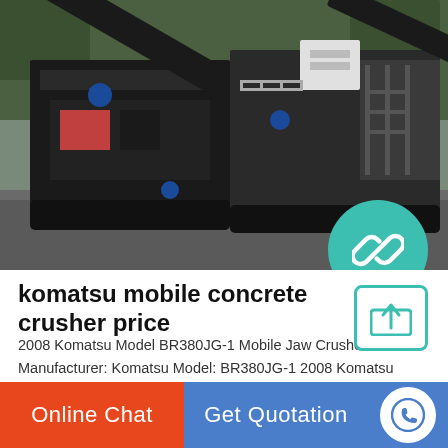[Figure (photo): Industrial mobile jaw crusher machines (Komatsu) parked on a road, large tracked machinery with conveyor belts and processing equipment visible]
komatsu mobile concrete crusher price
2008 Komatsu Model BR380JG-1 Mobile Jaw Crusher. Manufacturer: Komatsu Model: BR380JG-1 2008 Komatsu Model BR380JG-1 Mobile Jaw Crusher The 2008 Komatsu Model BR380JG-1 mobile jaw crusher is a common sight in mining operations. Its versatility has allowed this machinery to also find plenty of work i...
Online Chat | Get Quotation